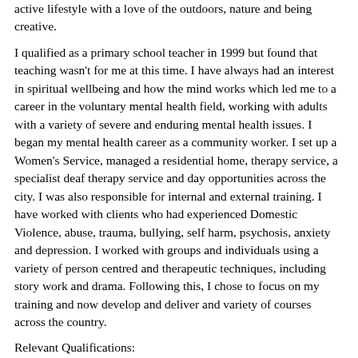active lifestyle with a love of the outdoors, nature and being creative.
I qualified as a primary school teacher in 1999 but found that teaching wasn’t for me at this time.  I have always had an interest in spiritual wellbeing and how the mind works which led me to a career in the voluntary mental health field, working with adults with a variety of severe and enduring mental health issues.  I began my mental health career as a community worker.  I set up a Women’s Service, managed a residential home, therapy service, a specialist deaf therapy service and day opportunities across the city.  I was also responsible for internal and external training. I have worked with clients who had experienced Domestic Violence, abuse, trauma, bullying, self harm, psychosis, anxiety and depression.  I worked with groups and individuals using a variety of person centred and therapeutic techniques, including story work and drama.  Following this, I chose to focus on my training and now develop and deliver and variety of courses across the country.
Relevant Qualifications:
Human Givens – ‘Stories That Heal’, ‘Guided Imagery & Visualisation’ ‘Understanding Anxiety’
NVQ4 Care Managers award
City & Guilds Level 3 – Certificate in community Mental Health Care,